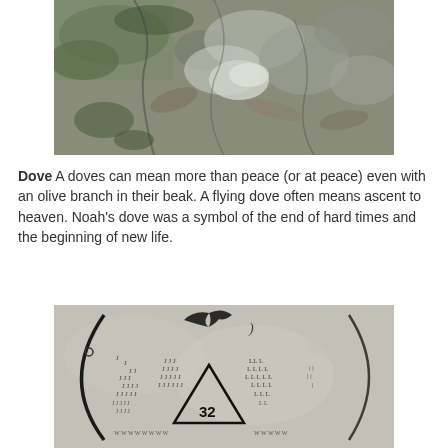[Figure (photo): Close-up photograph of mossy stone or rock surface with grey and green tones]
Dove A doves can mean more than peace (or at peace) even with an olive branch in their beak. A flying dove often means ascent to heaven. Noah's dove was a symbol of the end of hard times and the beginning of new life.
[Figure (photo): Close-up photograph of a gravestone with carved symbols including a triangle with the number 32 inside, and various other decorative engravings]